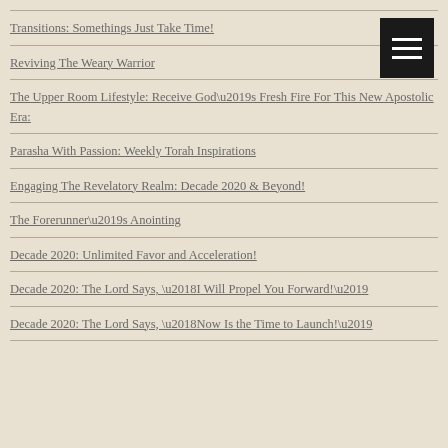Transitions: Somethings Just Take Time!
Reviving The Weary Warrior
The Upper Room Lifestyle: Receive God's Fresh Fire For This New Apostolic Era:
Parasha With Passion: Weekly Torah Inspirations
Engaging The Revelatory Realm: Decade 2020 & Beyond!
The Forerunner's Anointing
Decade 2020: Unlimited Favor and Acceleration!
Decade 2020: The Lord Says, 'I Will Propel You Forward!'
Decade 2020: The Lord Says, 'Now Is the Time to Launch!'